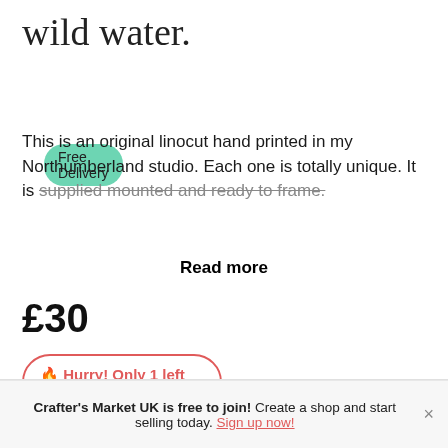wild water.
Free Delivery
This is an original linocut hand printed in my Northumberland studio. Each one is totally unique. It is supplied mounted and ready to frame.
Read more
£30
🔥 Hurry! Only 1 left
Crafter's Market UK is free to join! Create a shop and start selling today. Sign up now!